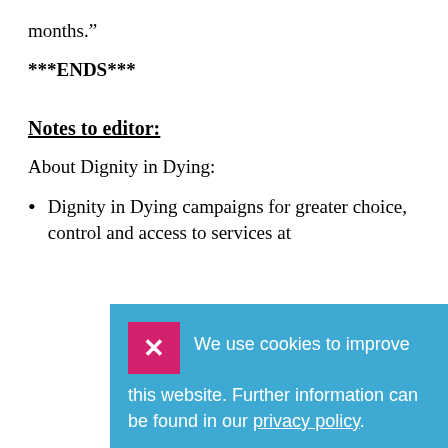months.”
***ENDS***
Notes to editor:
About Dignity in Dying:
Dignity in Dying campaigns for greater choice, control and access to services at
We use cookies to improve this website. Further information can be found in our privacy policy.